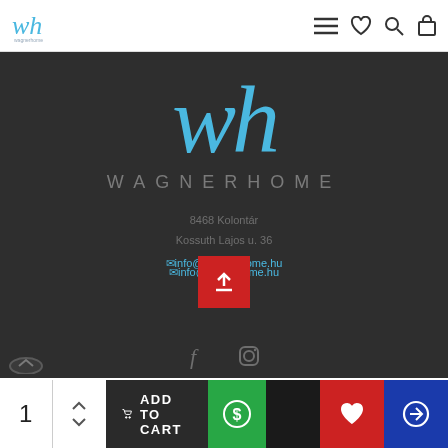[Figure (logo): wh WagnerHome logo in top left header - script 'wh' in blue with small text below]
[Figure (screenshot): Website header navigation bar with hamburger menu, heart, search, and cart icons on white background]
[Figure (logo): Large dark banner with script 'wh' in sky blue, WAGNERHOME text in grey letterspacing, address 8468 Kolontár Kossuth Lajos u. 36, email info@wagnerhome.hu, social icons, red upload button overlay]
8468 Kolontár
Kossuth Lajos u. 36
info@wagnerhome.hu
[Figure (screenshot): Bottom bar with quantity selector showing 1, ADD TO CART button, green dollar button, red wishlist heart button, blue compare button]